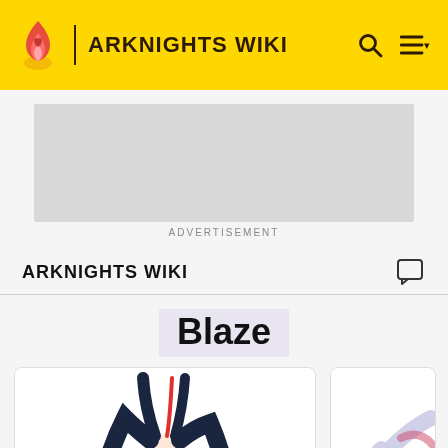ARKNIGHTS WIKI
[Figure (other): Advertisement placeholder - gray rectangle]
ADVERTISEMENT
ARKNIGHTS WIKI
Blaze
[Figure (illustration): Blaze character art - anime girl with long dark hair, white outfit, cat ears]
[Figure (illustration): Partial view of a second character card on the right edge]